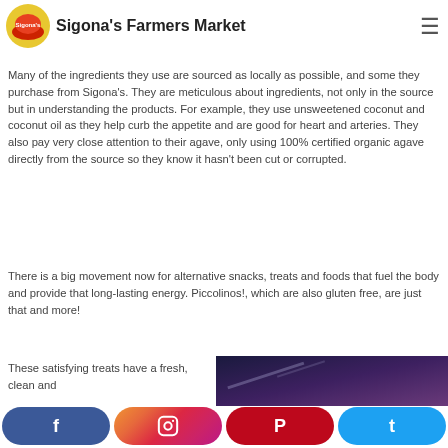Sigona's Farmers Market
We launched Raw Decadence in October 2009 and formally started producing product for retail sales in early 2010."
Many of the ingredients they use are sourced as locally as possible, and some they purchase from Sigona's. They are meticulous about ingredients, not only in the source but in understanding the products. For example, they use unsweetened coconut and coconut oil as they help curb the appetite and are good for heart and arteries. They also pay very close attention to their agave, only using 100% certified organic agave directly from the source so they know it hasn't been cut or corrupted.
There is a big movement now for alternative snacks, treats and foods that fuel the body and provide that long-lasting energy. Piccolinos!, which are also gluten free, are just that and more!
These satisfying treats have a fresh, clean and
[Figure (photo): Dark-toned photo, likely product image with purple/blue tones]
Social share bar: Facebook, Instagram, Pinterest, Twitter